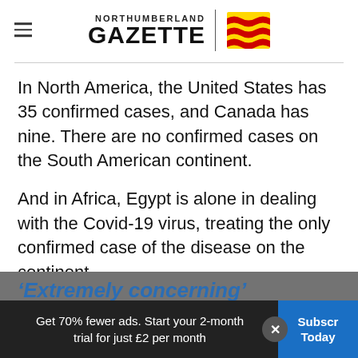NORTHUMBERLAND GAZETTE
In North America, the United States has 35 confirmed cases, and Canada has nine. There are no confirmed cases on the South American continent.
And in Africa, Egypt is alone in dealing with the Covid-19 virus, treating the only confirmed case of the disease on the continent.
‘Extremely concerning’
Get 70% fewer ads. Start your 2-month trial for just £2 per month | Subscribe Today